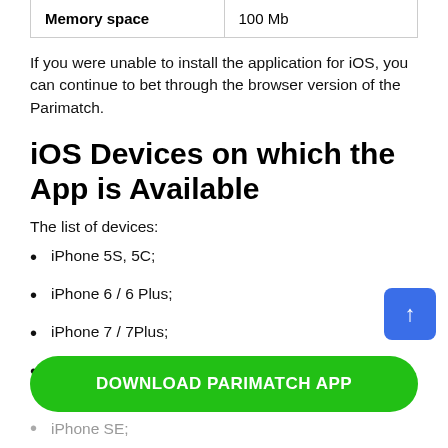| Memory space | 100 Mb |
If you were unable to install the application for iOS, you can continue to bet through the browser version of the Parimatch.
iOS Devices on which the App is Available
The list of devices:
iPhone 5S, 5C;
iPhone 6 / 6 Plus;
iPhone 7 / 7Plus;
iPhone 8 / 8 Plus;
iPhone SE;
DOWNLOAD PARIMATCH APP